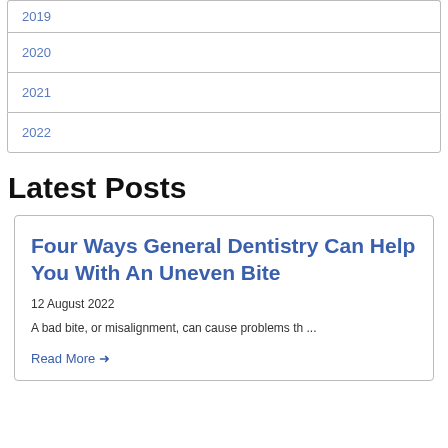2019
2020
2021
2022
Latest Posts
Four Ways General Dentistry Can Help You With An Uneven Bite
12 August 2022
A bad bite, or misalignment, can cause problems th ...
Read More →